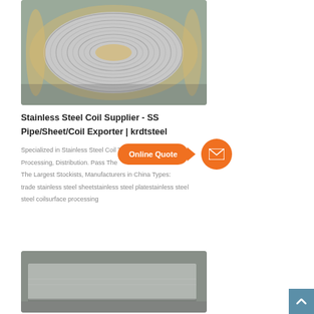[Figure (photo): Stainless steel wire coil on a wooden spool, top-down view, showing tightly wound silver wire]
Stainless Steel Coil Supplier - SS Pipe/Sheet/Coil Exporter | krdtsteel
Specialized in Stainless Steel Coil Trading, Processing, Distribution. Pass The Largest Stockists, Manufacturers in China Types: trade stainless steel sheetstainless steel platestainless steel coilsurface processing
[Figure (other): Online Quote speech bubble button in orange with mail circle icon]
[Figure (photo): Stainless steel plate/sheet product photo, grey surface, industrial setting]